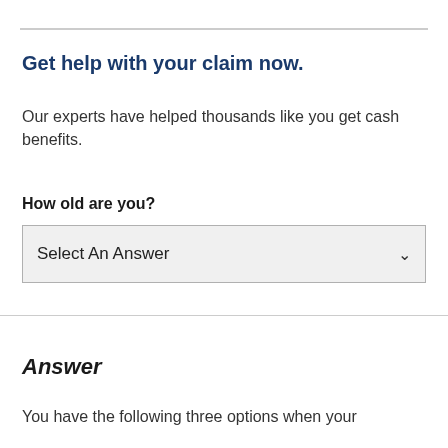Get help with your claim now.
Our experts have helped thousands like you get cash benefits.
How old are you?
Select An Answer
Answer
You have the following three options when your